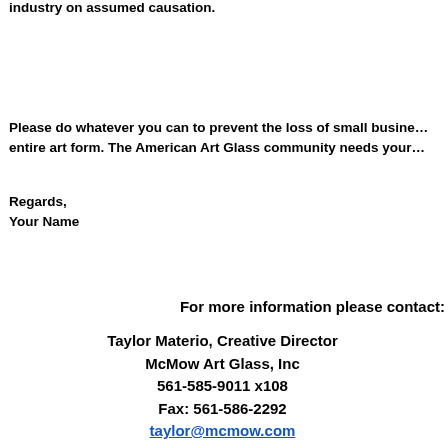industry on assumed causation.
Please do whatever you can to prevent the loss of small busine… entire art form. The American Art Glass community needs your…
Regards,
Your Name
For more information please contact:
Taylor Materio, Creative Director
McMow Art Glass, Inc
561-585-9011 x108
Fax: 561-586-2292
taylor@mcmow.com